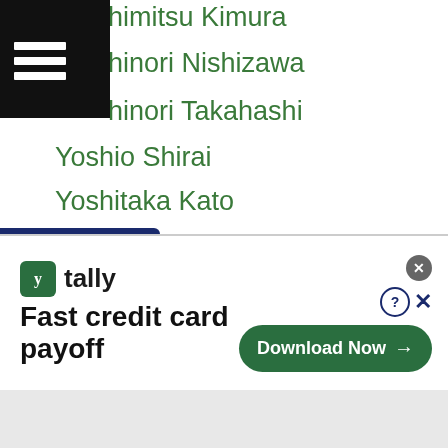himitsu Kimura
hinori Nishizawa
hinori Takahashi
Yoshio Shirai
Yoshitaka Kato
Yosshah Matsumoto
Yosuke Fujihara
Yosuke Kawano
Yosuke Kirima
Yosuke Nishijima
Yota Hori
Yota-sato
Yougu Yu
Youli Dong
Youngdoo Choi
Young Gil Bae
[Figure (screenshot): Tally app advertisement banner: 'Fast credit card payoff' with Download Now button]